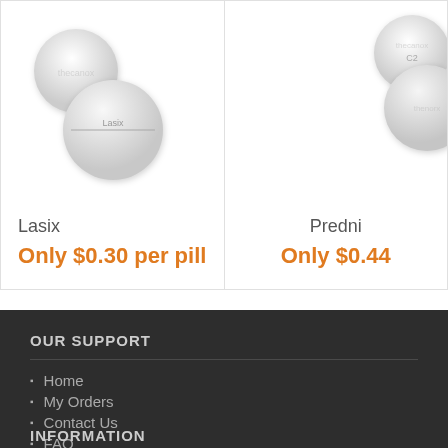[Figure (photo): Two pharmaceutical pill product cards showing Lasix pills (white round tablets) and Predni pills (white round tablets) against white background]
Lasix
Only $0.30 per pill
Predni
Only $0.44
OUR SUPPORT
Home
My Orders
Contact Us
FAQ
INFORMATION